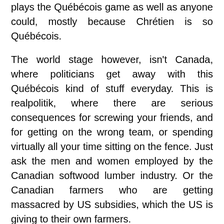plays the Québécois game as well as anyone could, mostly because Chrétien is so Québécois.
The world stage however, isn't Canada, where politicians get away with this Québécois kind of stuff everyday. This is realpolitik, where there are serious consequences for screwing your friends, and for getting on the wrong team, or spending virtually all your time sitting on the fence. Just ask the men and women employed by the Canadian softwood lumber industry. Or the Canadian farmers who are getting massacred by US subsidies, which the US is giving to their own farmers.
The President of the USA, and the American Congress do not look for votes on our side of the border. And as long as they keep the American voters happy, they couldn't give a damn about what is